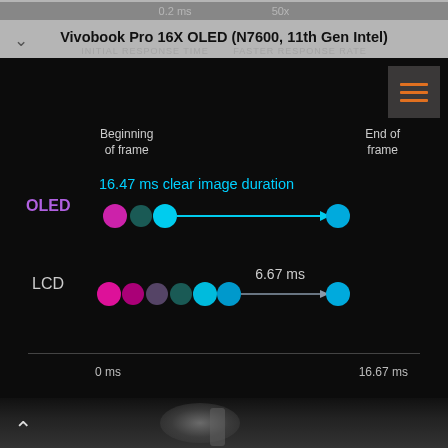Vivobook Pro 16X OLED (N7600, 11th Gen Intel)
[Figure (infographic): Diagram showing OLED vs LCD clear image duration. OLED has 16.47 ms clear image duration across the frame. LCD has 6.67 ms. Timeline from 0 ms to 16.67 ms with colored dots representing pixel states.]
Beginning of frame
End of frame
16.47 ms clear image duration
OLED
6.67 ms
LCD
0 ms
16.67 ms